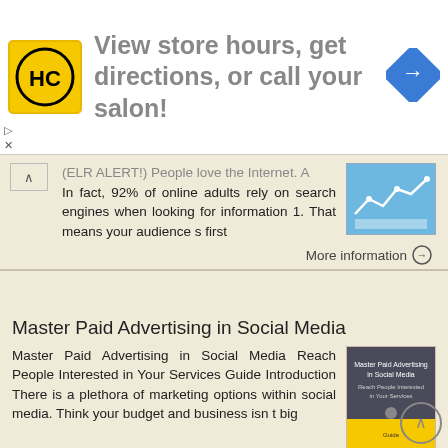[Figure (infographic): Advertisement banner with HC logo (yellow square with HC letters), text 'View store hours, get directions, or call your salon!', and a blue diamond navigation icon on the right.]
(ELR ALERT!) People love the Internet. A In fact, 92% of online adults rely on search engines when looking for information 1. That means your audience s first
[Figure (screenshot): Thumbnail image showing a blue background with white graph/chart lines and dots.]
More information →
Master Paid Advertising in Social Media
Master Paid Advertising in Social Media Reach People Interested in Your Services Guide Introduction There is a plethora of marketing options within social media. Think your budget and business isn t big
[Figure (screenshot): Thumbnail image showing book cover for 'Master Paid Advertising in Social Media' with yellow and dark blue/grey background.]
More information →